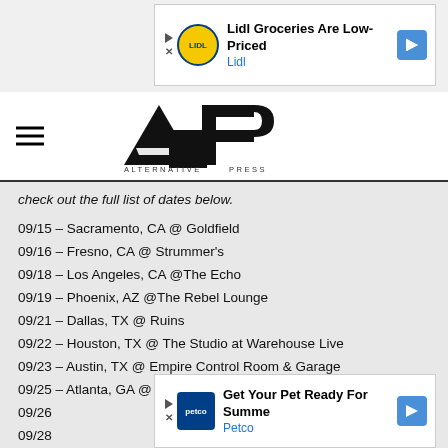[Figure (other): Lidl Groceries advertisement banner: logo, headline 'Lidl Groceries Are Low-Priced', subtext 'Lidl', navigation arrow icon]
[Figure (logo): Alternative Press (AP) logo — large stylized AP letters with 'ALTERNATIVE PRESS' text beneath]
check out the full list of dates below.
09/15 – Sacramento, CA @ Goldfield
09/16 – Fresno, CA @ Strummer's
09/18 – Los Angeles, CA @The Echo
09/19 – Phoenix, AZ @The Rebel Lounge
09/21 – Dallas, TX @ Ruins
09/22 – Houston, TX @ The Studio at Warehouse Live
09/23 – Austin, TX @ Empire Control Room & Garage
09/25 – Atlanta, GA @ The Masquerade - Purgatory
09/26
09/28
[Figure (other): Petco advertisement banner: logo, headline 'Get Your Pet Ready For Summe', subtext 'Petco', navigation arrow icon]